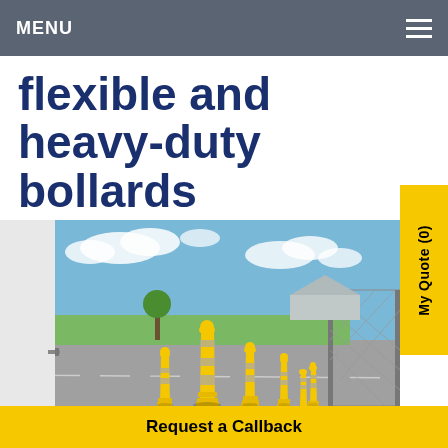MENU
flexible and heavy-duty bollards
[Figure (photo): Yellow and grey striped flexible bollards arranged in a parking/industrial area with a building wall on the left, trees and green field in the background, and a chain-link fence on the right under a partly cloudy blue sky.]
My Quote (0)
Request a Callback